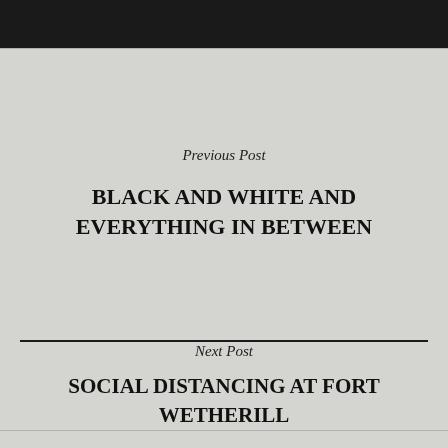Previous Post
BLACK AND WHITE AND EVERYTHING IN BETWEEN
Next Post
SOCIAL DISTANCING AT FORT WETHERILL